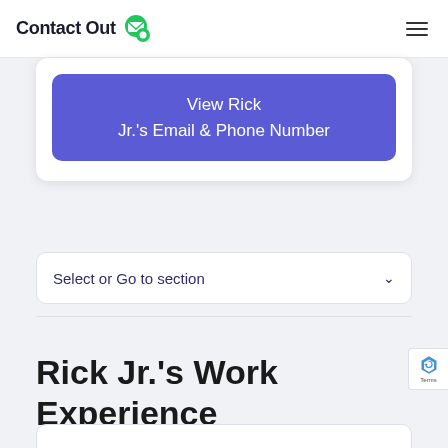ContactOut
View Rick Jr.'s Email & Phone Number
Select or Go to section
Rick Jr.'s Work Experience